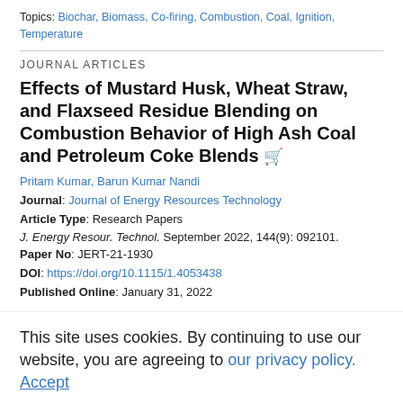Topics: Biochar, Biomass, Co-firing, Combustion, Coal, Ignition, Temperature
JOURNAL ARTICLES
Effects of Mustard Husk, Wheat Straw, and Flaxseed Residue Blending on Combustion Behavior of High Ash Coal and Petroleum Coke Blends
Pritam Kumar, Barun Kumar Nandi
Journal: Journal of Energy Resources Technology
Article Type: Research Papers
J. Energy Resour. Technol. September 2022, 144(9): 092101.
Paper No: JERT-21-1930
DOI: https://doi.org/10.1115/1.4053438
Published Online: January 31, 2022
This site uses cookies. By continuing to use our website, you are agreeing to our privacy policy. Accept